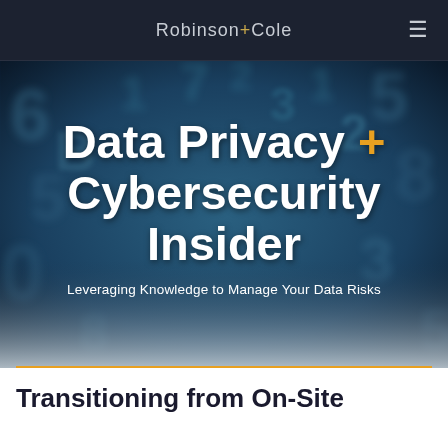Robinson+Cole
[Figure (illustration): Dark blue digital background with blurred numbers (1, 2, 3, 5, 6, 7, 8, B, etc.) scattered across a textured surface, serving as hero background for a cybersecurity newsletter]
Data Privacy + Cybersecurity Insider
Leveraging Knowledge to Manage Your Data Risks
Transitioning from On-Site